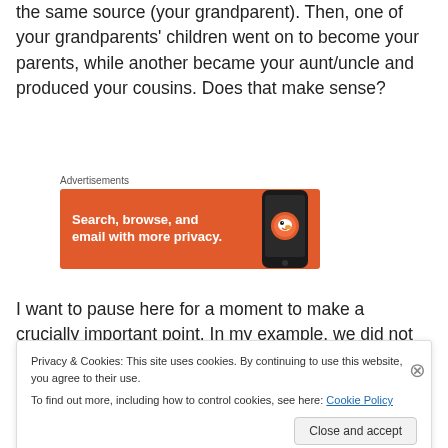the same source (your grandparent). Then, one of your grandparents' children went on to become your parents, while another became your aunt/uncle and produced your cousins. Does that make sense?
[Figure (illustration): DuckDuckGo advertisement banner: orange background with text 'Search, browse, and email with more privacy.' alongside a dark smartphone graphic with DuckDuckGo logo]
I want to pause here for a moment to make a crucially important point. In my example, we did not need actual
Privacy & Cookies: This site uses cookies. By continuing to use this website, you agree to their use.
To find out more, including how to control cookies, see here: Cookie Policy